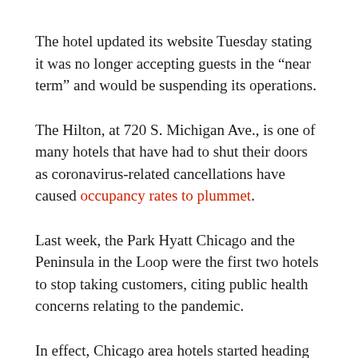The hotel updated its website Tuesday stating it was no longer accepting guests in the “near term” and would be suspending its operations.
The Hilton, at 720 S. Michigan Ave., is one of many hotels that have had to shut their doors as coronavirus-related cancellations have caused occupancy rates to plummet.
Last week, the Park Hyatt Chicago and the Peninsula in the Loop were the first two hotels to stop taking customers, citing public health concerns relating to the pandemic.
In effect, Chicago area hotels started heading that way when...